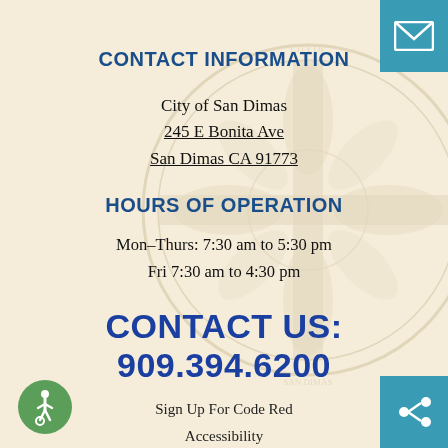[Figure (illustration): City of San Dimas seal watermark in light tan/gold, circular with cross and decorative elements]
[Figure (illustration): Teal square button with white envelope/mail icon in top-right corner]
CONTACT INFORMATION
City of San Dimas
245 E Bonita Ave
San Dimas CA 91773
HOURS OF OPERATION
Mon–Thurs: 7:30 am to 5:30 pm
Fri 7:30 am to 4:30 pm
CONTACT US: 909.394.6200
Sign Up For Code Red
Accessibility
[Figure (illustration): Green circle with white accessibility (wheelchair user) icon, bottom-left corner]
[Figure (illustration): Teal square button with white share icon (connected dots), bottom-right corner]